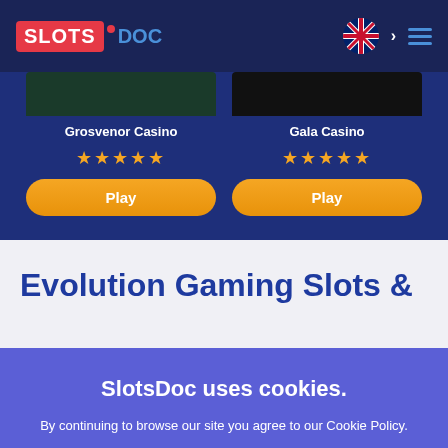[Figure (screenshot): SlotsDoc website header with red SLOTS logo, blue DOC text, UK flag icon, chevron arrow, and hamburger menu icon on dark navy background]
Grosvenor Casino
[Figure (other): 5 gold star rating for Grosvenor Casino]
Play
Gala Casino
[Figure (other): 5 gold star rating for Gala Casino]
Play
Evolution Gaming Slots &
SlotsDoc uses cookies.
By continuing to browse our site you agree to our Cookie Policy.
OK, I AGREE